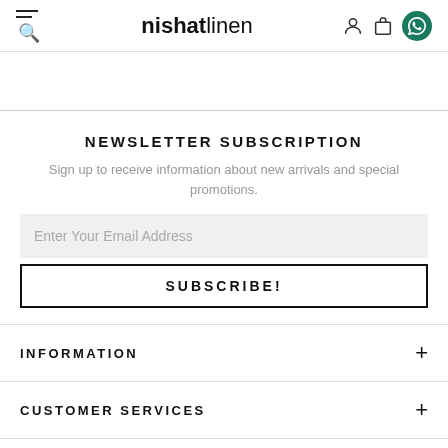nishatlinen
NEWSLETTER SUBSCRIPTION
Sign up to receive information about new arrivals and special promotions.
Enter Your Email Address
SUBSCRIBE!
INFORMATION
CUSTOMER SERVICES